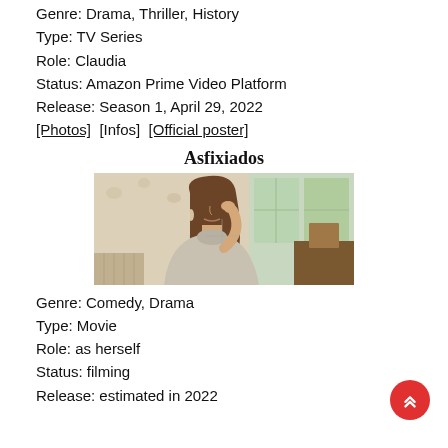Genre: Drama, Thriller, History
Type: TV Series
Role: Claudia
Status: Amazon Prime Video Platform
Release: Season 1, April 29, 2022
[Photos]  [Infos]  [Official poster]
Asfixiados
[Figure (photo): Woman with long hair touching her face, seated in a room with windows and furniture in background]
Genre: Comedy, Drama
Type: Movie
Role: as herself
Status: filming
Release: estimated in 2022